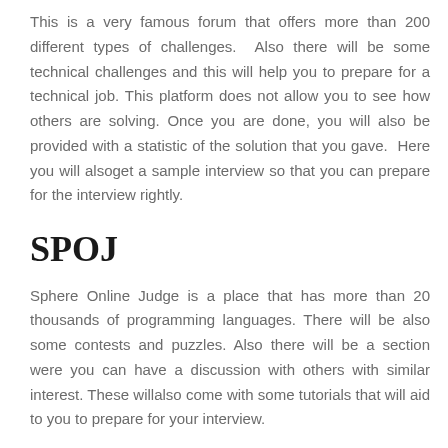This is a very famous forum that offers more than 200 different types of challenges.  Also there will be some technical challenges and this will help you to prepare for a technical job. This platform does not allow you to see how others are solving. Once you are done, you will also be provided with a statistic of the solution that you gave.  Here you will alsoget a sample interview so that you can prepare for the interview rightly.
SPOJ
Sphere Online Judge is a place that has more than 20 thousands of programming languages. There will be also some contests and puzzles. Also there will be a section were you can have a discussion with others with similar interest. These willalso come with some tutorials that will aid to you to prepare for your interview.